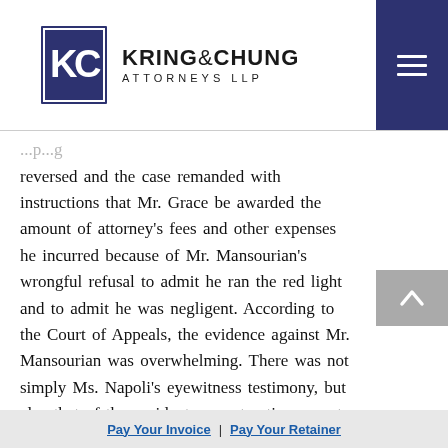Kring & Chung Attorneys LLP
reversed and the case remanded with instructions that Mr. Grace be awarded the amount of attorney's fees and other expenses he incurred because of Mr. Mansourian's wrongful refusal to admit he ran the red light and to admit he was negligent. According to the Court of Appeals, the evidence against Mr. Mansourian was overwhelming. There was not simply Ms. Napoli's eyewitness testimony, but also that of the accident reconstruction expert and the investigating police officer.
Pay Your Invoice | Pay Your Retainer